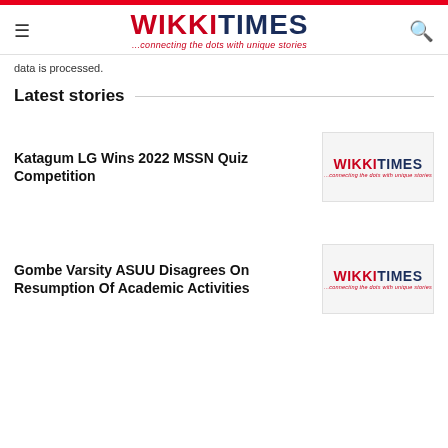WIKKITIMES ...connecting the dots with unique stories
data is processed.
Latest stories
Katagum LG Wins 2022 MSSN Quiz Competition
[Figure (logo): WikkiTimes logo placeholder image]
Gombe Varsity ASUU Disagrees On Resumption Of Academic Activities
[Figure (logo): WikkiTimes logo placeholder image]